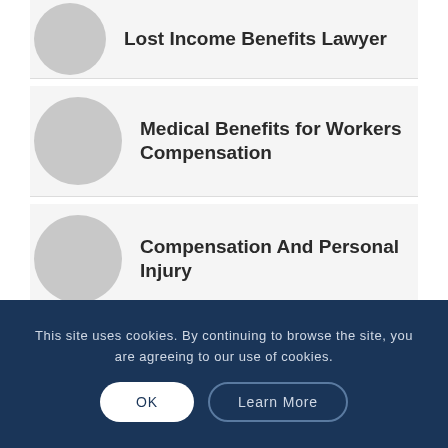Lost Income Benefits Lawyer
Medical Benefits for Workers Compensation
Compensation And Personal Injury
This site uses cookies. By continuing to browse the site, you are agreeing to our use of cookies.
OK
Learn More